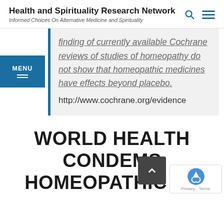Health and Spirituality Research Network
Informed Choices On Alternative Medicine and Spirituality
finding of currently available Cochrane reviews of studies of homeopathy do not show that homeopathic medicines have effects beyond placebo. http://www.cochrane.org/evidence
WORLD HEALTH CONDEMS HOMEOPATHIC RX